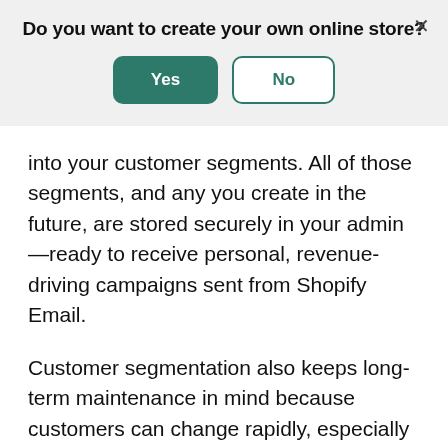Do you want to create your own online store?
[Figure (screenshot): Dialog box with Yes (green filled button) and No (green outlined button) options, and an X close button in the top right corner.]
into your customer segments. All of those segments, and any you create in the future, are stored securely in your admin—ready to receive personal, revenue-driving campaigns sent from Shopify Email.
Customer segmentation also keeps long-term maintenance in mind because customers can change rapidly, especially if they're highly engaged. Any time a customer meets criteria in one of your saved segments, they'll be added